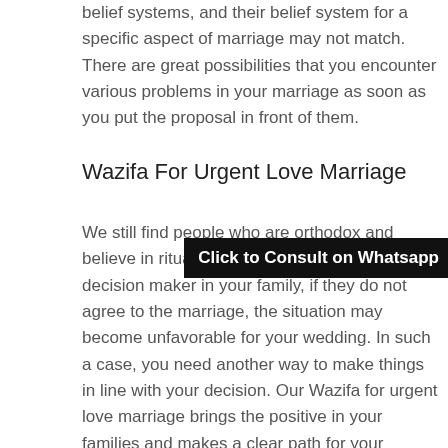belief systems, and their belief system for a specific aspect of marriage may not match. There are great possibilities that you encounter various problems in your marriage as soon as you put the proposal in front of them.
Wazifa For Urgent Love Marriage
We still find people who are orthodox and believe in rituals and castism. Whoever is the decision maker in your family, if they do not agree to the marriage, the situation may become unfavorable for your wedding. In such a case, you need another way to make things in line with your decision. Our Wazifa for urgent love marriage brings the positive in your families and makes a clear path for your wedding to happen the way you want.
[Figure (other): Black banner overlay with white bold text: 'Click to Consult on Whatsapp']